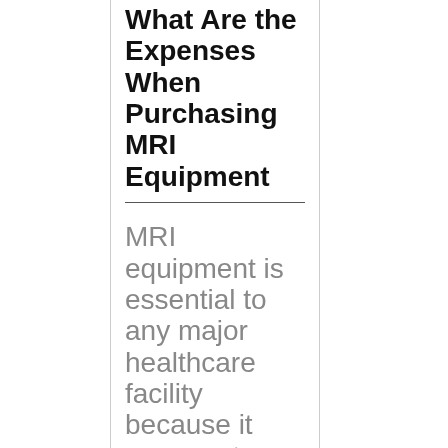What Are the Expenses When Purchasing MRI Equipment
MRI equipment is essential to any major healthcare facility because it can create detailed